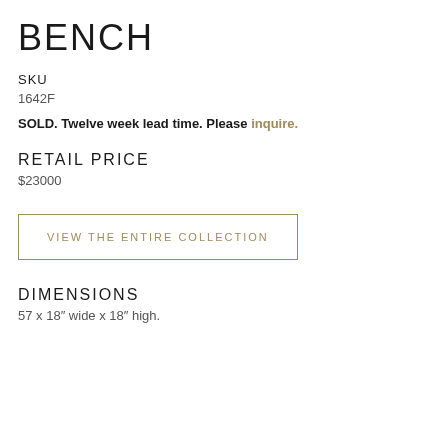BENCH
SKU
1642F
SOLD. Twelve week lead time. Please inquire.
RETAIL PRICE
$23000
VIEW THE ENTIRE COLLECTION
DIMENSIONS
57 x 18″ wide x 18″ high.